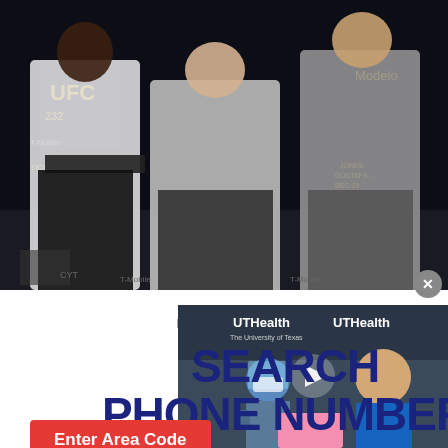[Figure (photo): UFC press conference photo showing three men on stage: a fighter in white shirt on the left, Dana White in gray sweater in the center separating them, and another fighter in gray hoodie on the right. UFC 232 event backdrop visible.]
[Figure (screenshot): Video thumbnail showing UTHealth branding with a medical worker in PPE (face shield and mask) and an older man in a blue shirt seated.]
Powered By
SEARCH PHONE NUMBER
Enter Area Code